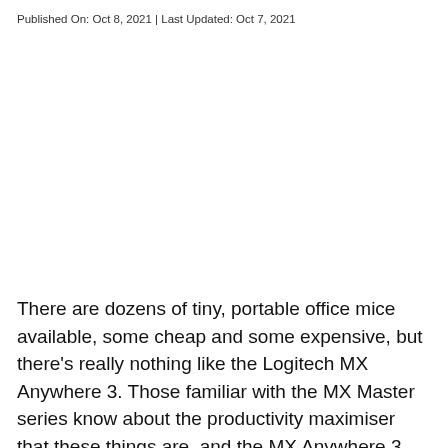Published On: Oct 8, 2021 | Last Updated: Oct 7, 2021
There are dozens of tiny, portable office mice available, some cheap and some expensive, but there's really nothing like the Logitech MX Anywhere 3. Those familiar with the MX Master series know about the productivity maximiser that these things are, and the MX Anywhere 3 brings all that in a portable form factor